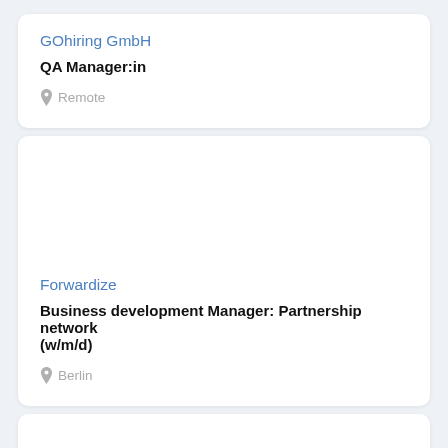GOhiring GmbH
QA Manager:in
Remote
Forwardize
Business development Manager: Partnership network (w/m/d)
Berlin